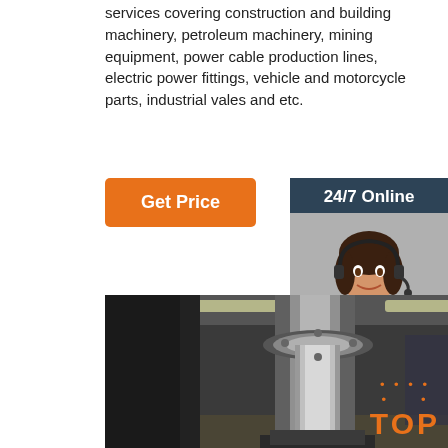services covering construction and building machinery, petroleum machinery, mining equipment, power cable production lines, electric power fittings, vehicle and motorcycle parts, industrial vales and etc.
[Figure (other): Orange 'Get Price' button]
[Figure (other): 24/7 Online support widget with a photo of a smiling woman wearing a headset, 'Click here for free chat!' text, and an orange 'QUOTATION' button on dark blue background]
[Figure (photo): Industrial factory interior showing heavy machinery, a large metal shaft/column assembly on a press machine, with warehouse interior visible in background]
[Figure (logo): Orange 'TOP' badge with decorative dots in bottom right corner]